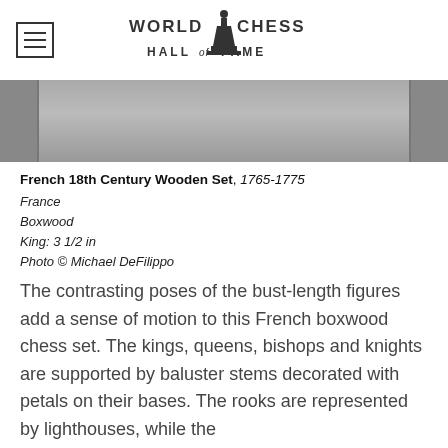World Chess Hall of Fame
[Figure (photo): Partial view of chess pieces, gray/dark background strip]
French 18th Century Wooden Set, 1765-1775
France
Boxwood
King: 3 1/2 in
Photo © Michael DeFilippo
The contrasting poses of the bust-length figures add a sense of motion to this French boxwood chess set. The kings, queens, bishops and knights are supported by baluster stems decorated with petals on their bases. The rooks are represented by lighthouses, while the